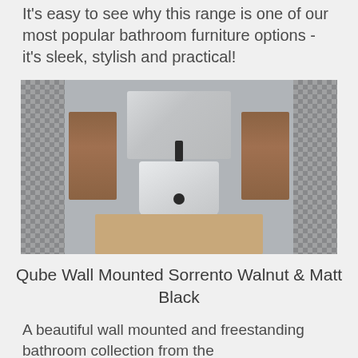It's easy to see why this range is one of our most popular bathroom furniture options - it's sleek, stylish and practical!
[Figure (photo): Overhead/top-down view of a Qube Wall Mounted bathroom vanity unit in Sorrento Walnut finish with a white ceramic sink and Matt Black faucet, flanked by wood panels and patterned tiles on either side.]
Qube Wall Mounted Sorrento Walnut & Matt Black
A beautiful wall mounted and freestanding bathroom collection from the